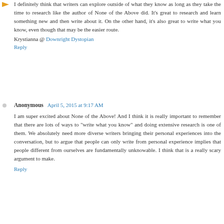I definitely think that writers can explore outside of what they know as long as they take the time to research like the author of None of the Above did. It's great to research and learn something new and then write about it. On the other hand, it's also great to write what you know, even though that may be the easier route.
Krystianna @ Downright Dystopian
Reply
Anonymous April 5, 2015 at 9:17 AM
I am super excited about None of the Above! And I think it is really important to remember that there are lots of ways to "write what you know" and doing extensive research is one of them. We absolutely need more diverse writers bringing their personal experiences into the conversation, but to argue that people can only write from personal experience implies that people different from ourselves are fundamentally unknowable. I think that is a really scary argument to make.
Reply